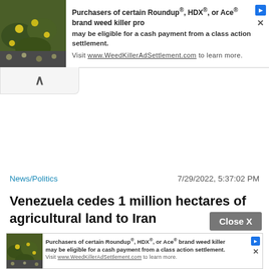[Figure (screenshot): Top banner advertisement for Roundup/HDX/Ace brand weed killer class action settlement. Shows plant/foliage image on left, ad text on right with play and close icons.]
[Figure (screenshot): Collapse/minimize button bar with an upward caret arrow symbol.]
News/Politics
7/29/2022, 5:37:02 PM
Venezuela cedes 1 million hectares of agricultural land to Iran
Close X
[Figure (screenshot): Bottom smaller banner advertisement for Roundup/HDX/Ace brand weed killer class action settlement. Similar to top ad but smaller.]